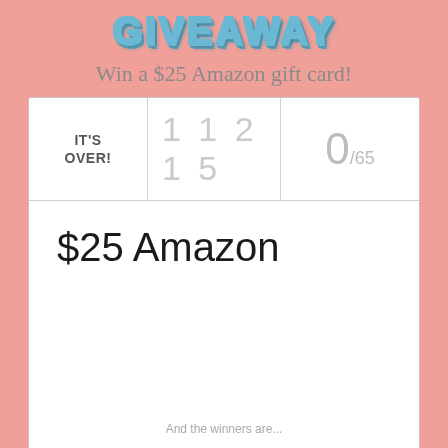GIVEAWAY
Win a $25 Amazon gift card!
| IT'S OVER! | 1 1 2 1 5 | 0/65 |
| --- | --- | --- |
$25 Amazon
And the winners are...